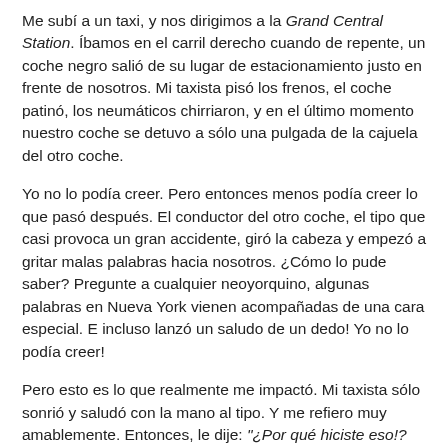Me subí a un taxi, y nos dirigimos a la Grand Central Station. Íbamos en el carril derecho cuando de repente, un coche negro salió de su lugar de estacionamiento justo en frente de nosotros. Mi taxista pisó los frenos, el coche patinó, los neumáticos chirriaron, y en el último momento nuestro coche se detuvo a sólo una pulgada de la cajuela del otro coche.
Yo no lo podía creer. Pero entonces menos podía creer lo que pasó después. El conductor del otro coche, el tipo que casi provoca un gran accidente, giró la cabeza y empezó a gritar malas palabras hacia nosotros. ¿Cómo lo pude saber? Pregunte a cualquier neoyorquino, algunas palabras en Nueva York vienen acompañadas de una cara especial. E incluso lanzó un saludo de un dedo! Yo no lo podía creer!
Pero esto es lo que realmente me impactó. Mi taxista sólo sonrió y saludó con la mano al tipo. Y me refiero muy amablemente. Entonces, le dije: "¿Por qué hiciste eso!? Este tipo podría habernos matado" Y aquí fue cuando mi taxista me dijo lo que ahora llamo "La Ley del Camión de basura®" Él dijo:
"Muchas personas son como camiones de basura. Circulan por todas partes llenos de basura, llenos de frustración,